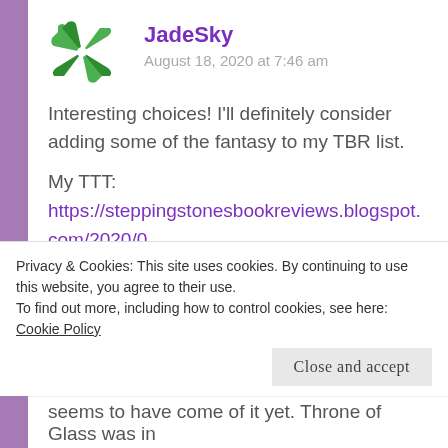[Figure (logo): Green pinwheel/windmill avatar icon for JadeSky user]
JadeSky
August 18, 2020 at 7:46 am
Interesting choices! I'll definitely consider adding some of the fantasy to my TBR list.
My TTT:
https://steppingstonesbookreviews.blogspot.com/2020/0 ten-tuesdays-books-that-should-be.html
Liked by 1 person
REPLY
Privacy & Cookies: This site uses cookies. By continuing to use this website, you agree to their use.
To find out more, including how to control cookies, see here: Cookie Policy
Close and accept
seems to have come of it yet. Throne of Glass was in